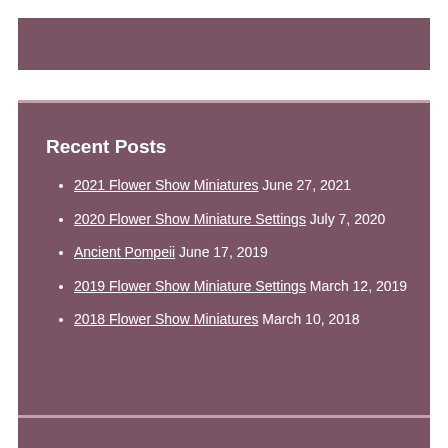Recent Posts
2021 Flower Show Miniatures June 27, 2021
2020 Flower Show Miniature Settings July 7, 2020
Ancient Pompeii June 17, 2019
2019 Flower Show Miniature Settings March 12, 2019
2018 Flower Show Miniatures March 10, 2018